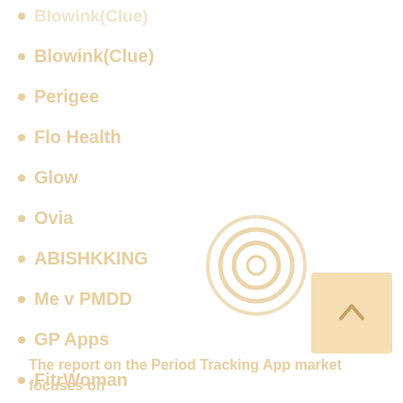Blowink(Clue)
Perigee
Flo Health
Glow
Ovia
ABISHKKING
Me v PMDD
GP Apps
FitrWoman
Flatcracker Software
[Figure (other): Loading spinner / circular target icon with concentric rings in orange/golden color]
[Figure (other): Back-to-top button with upward arrow on beige/light orange background]
The report on the Period Tracking App market focuses on